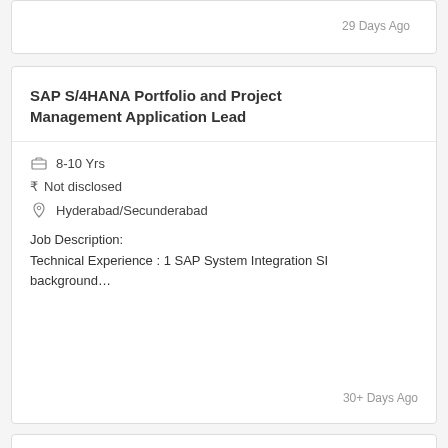29 Days Ago
SAP S/4HANA Portfolio and Project Management Application Lead
8-10 Yrs
Not disclosed
Hyderabad/Secunderabad
Job Description:
Technical Experience : 1 SAP System Integration SI background…
30+ Days Ago
SAP S/4HANA Portfolio and Project